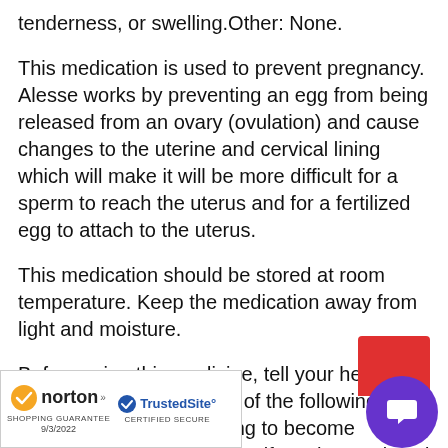tenderness, or swelling.Other: None.
This medication is used to prevent pregnancy. Alesse works by preventing an egg from being released from an ovary (ovulation) and cause changes to the uterine and cervical lining which will make it will be more difficult for a sperm to reach the uterus and for a fertilized egg to attach to the uterus.
This medication should be stored at room temperature. Keep the medication away from light and moisture.
Before using this medicine, tell your health care providers about any of the following: if you are pregnant, planning to become pregnant, or breastfeeding; if you have missed two menstrual periods in a row; if you have recently had a baby; of depression; high blood pressure, (chest pain), congestive